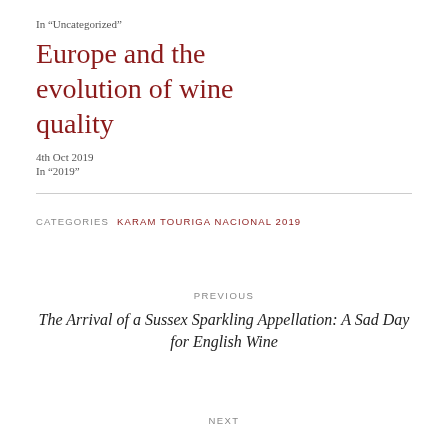In "Uncategorized"
Europe and the evolution of wine quality
4th Oct 2019
In "2019"
CATEGORIES   KARAM TOURIGA NACIONAL 2019
PREVIOUS
The Arrival of a Sussex Sparkling Appellation: A Sad Day for English Wine
NEXT